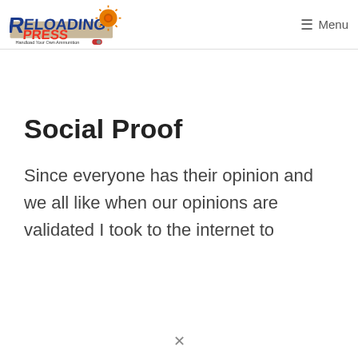ReloadingPress — Handload Your Own Ammunition | Menu
Social Proof
Since everyone has their opinion and we all like when our opinions are validated I took to the internet to